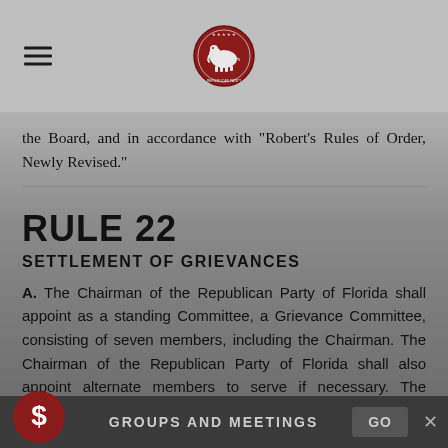Republican Party of Florida logo header
the Board, and in accordance with “Robert’s Rules of Order, Newly Revised.”
RULE 22
SETTLEMENT OF GRIEVANCES
A. The Chairman of the Republican Party of Florida shall appoint as a standing Committee, a Grievance Committee, consisting of seven members, including the Chairman. The Chairman of the Republican Party of Florida shall also appoint alternate members to serve if necessary. The Committee shall at the call of the Chairman of the Committee
GROUPS AND MEETINGS  GO  ×